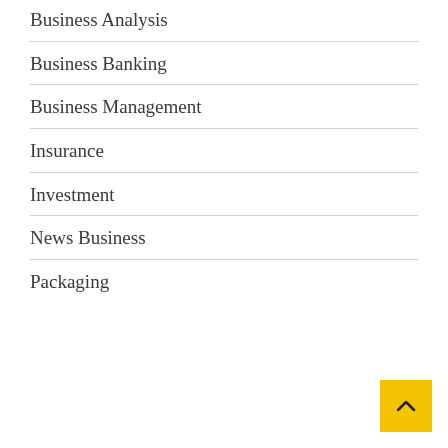Business Analysis
Business Banking
Business Management
Insurance
Investment
News Business
Packaging